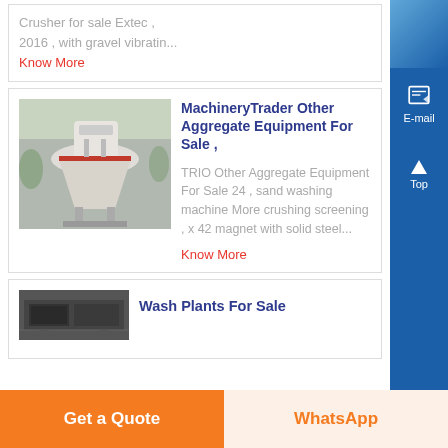Crusher for sale Extec , 2016 , with gravel vibratin...
Know More
[Figure (photo): Industrial cone crusher / aggregate processing machine, white with red accents, photographed outdoors]
MachineryTrader Other Aggregate Equipment For Sale ,
TRIO Other Aggregate Equipment For Sale 24 , sand washing machine More crushing screening , x 42 magnet with solid steel...
Know More
[Figure (photo): Partial view of wash plant equipment, dark machinery]
Wash Plants For Sale
Get a Quote
WhatsApp